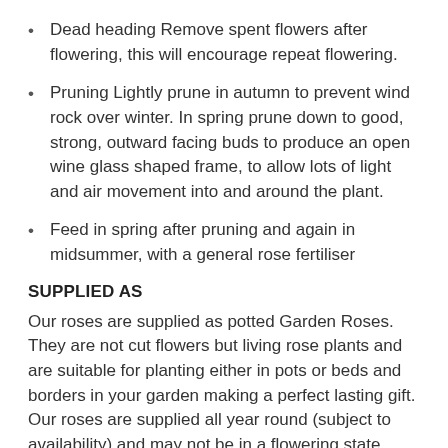Dead heading Remove spent flowers after flowering, this will encourage repeat flowering.
Pruning Lightly prune in autumn to prevent wind rock over winter. In spring prune down to good, strong, outward facing buds to produce an open wine glass shaped frame, to allow lots of light and air movement into and around the plant.
Feed in spring after pruning and again in midsummer, with a general rose fertiliser
SUPPLIED AS
Our roses are supplied as potted Garden Roses. They are not cut flowers but living rose plants and are suitable for planting either in pots or beds and borders in your garden making a perfect lasting gift. Our roses are supplied all year round (subject to availability) and may not be in a flowering state depending on the time of order. Our roses are supplied trimmed back and ready for planting in the autumn/winter